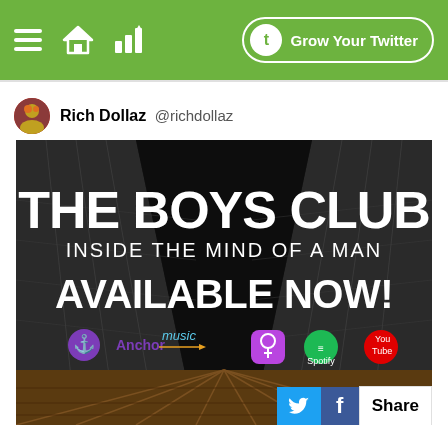[Figure (screenshot): Green navigation bar with hamburger menu, home icon, bar chart icon on the left, and 'Grow Your Twitter' button on the right]
Rich Dollaz @richdollaz
[Figure (photo): Promotional image for 'The Boys Club - Inside The Mind Of A Man' podcast. Dark locker room background with wooden floor. Bold white text: THE BOYS CLUB, INSIDE THE MIND OF A MAN, AVAILABLE NOW! Logos for Anchor, Amazon Music, Apple Podcasts, Spotify, and YouTube at the bottom.]
[Figure (screenshot): Share bar with Twitter bird icon (blue), Facebook f icon (dark blue), and 'Share' text label]